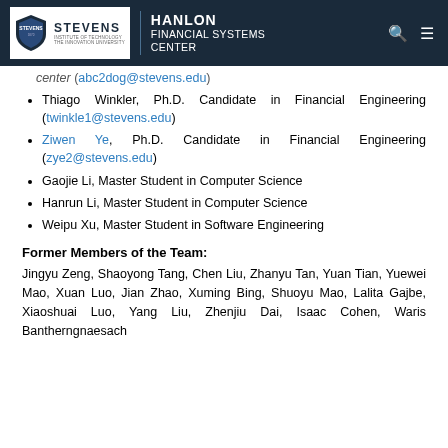Stevens Institute of Technology — Hanlon Financial Systems Center
...center (abc2dog@stevens.edu) [partial/cropped]
Thiago Winkler, Ph.D. Candidate in Financial Engineering (twinkle1@stevens.edu)
Ziwen Ye, Ph.D. Candidate in Financial Engineering (zye2@stevens.edu)
Gaojie Li, Master Student in Computer Science
Hanrun Li, Master Student in Computer Science
Weipu Xu, Master Student in Software Engineering
Former Members of the Team:
Jingyu Zeng, Shaoyong Tang, Chen Liu, Zhanyu Tan, Yuan Tian, Yuewei Mao, Xuan Luo, Jian Zhao, Xuming Bing, Shuoyu Mao, Lalita Gajbe, Xiaoshuai Luo, Yang Liu, Zhenjiu Dai, Isaac Cohen, Waris Bantherngnaesach